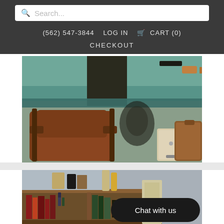Search...
(562) 547-3844   LOG IN   CART (0)
CHECKOUT
[Figure (photo): Vintage store interior showing a leather armchair, glass-top table, and vintage suitcases]
[Figure (photo): Vintage store shelf with old books, bottles, and collectibles; Chat with us button overlay]